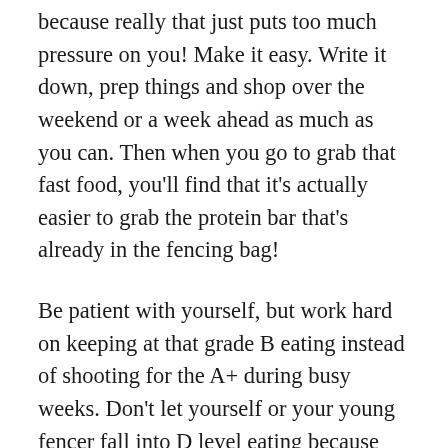because really that just puts too much pressure on you! Make it easy. Write it down, prep things and shop over the weekend or a week ahead as much as you can. Then when you go to grab that fast food, you'll find that it's actually easier to grab the protein bar that's already in the fencing bag!
Be patient with yourself, but work hard on keeping at that grade B eating instead of shooting for the A+ during busy weeks. Don't let yourself or your young fencer fall into D level eating because you've put so much pressure on the perfect diet. Change those eating habits, and then watch your fencing improve with an improved daily diet! And yes, have that cupcake every now and again or treat the family to ice cream once a